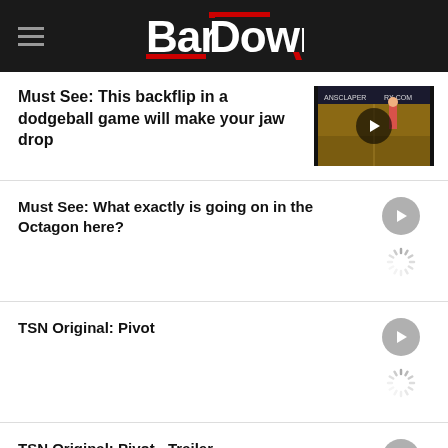BarDown
Must See: This backflip in a dodgeball game will make your jaw drop
Must See: What exactly is going on in the Octagon here?
TSN Original: Pivot
TSN Original: Pivot - Trailer